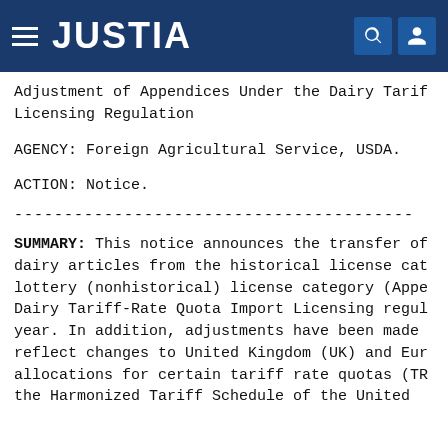JUSTIA
Adjustment of Appendices Under the Dairy Tariff-Rate Quota Import Licensing Regulation
AGENCY: Foreign Agricultural Service, USDA.
ACTION: Notice.
------------------------------------------------------------------------
SUMMARY: This notice announces the transfer of dairy articles from the historical license category to the lottery (nonhistorical) license category (Appendices) under the Dairy Tariff-Rate Quota Import Licensing regulation for this year. In addition, adjustments have been made to reflect changes to United Kingdom (UK) and European Union (EU) allocations for certain tariff rate quotas (TRQs) in the Harmonized Tariff Schedule of the United States (HTSUS).